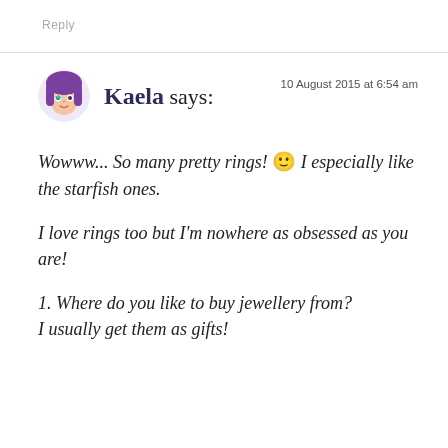Reply
[Figure (illustration): Cartoon avatar of a girl with purple hair and a teal gem on her face, circular crop]
Kaela says:
10 August 2015 at 6:54 am
Wowww... So many pretty rings! 🙂 I especially like the starfish ones.
I love rings too but I'm nowhere as obsessed as you are!
1. Where do you like to buy jewellery from? I usually get them as gifts!